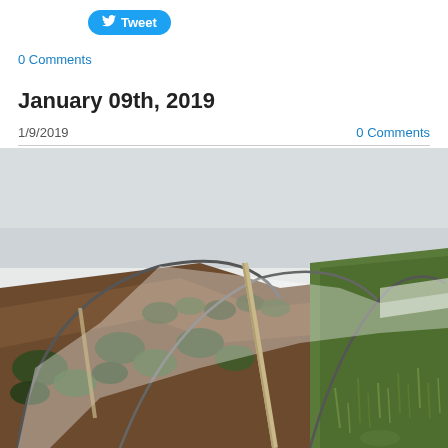[Figure (other): Tweet button with Twitter bird icon]
0 Comments
January 09th, 2019
1/9/2019
0 Comments
[Figure (photo): Photograph of a garden bed with low tunnel/hoop house structure made of metal arcs covered with clear plastic sheeting, with green leafy vegetable plants (possibly kale or broccoli) in dark soil, and grass visible on the right side.]